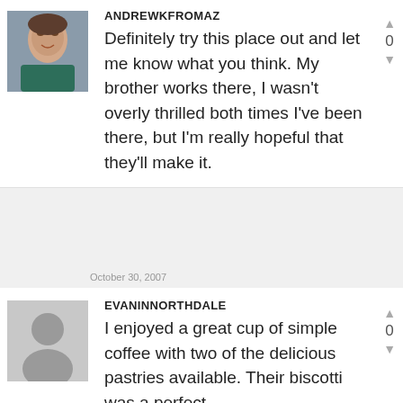[Figure (photo): Profile photo of a young man with brown hair, smiling]
ANDREWKFROMAZ
Definitely try this place out and let me know what you think. My brother works there, I wasn't overly thrilled both times I've been there, but I'm really hopeful that they'll make it.
October 30, 2007
[Figure (illustration): Default grey silhouette avatar placeholder]
EVANINNORTHDALE
I enjoyed a great cup of simple coffee with two of the delicious pastries available. Their biscotti was a perfect